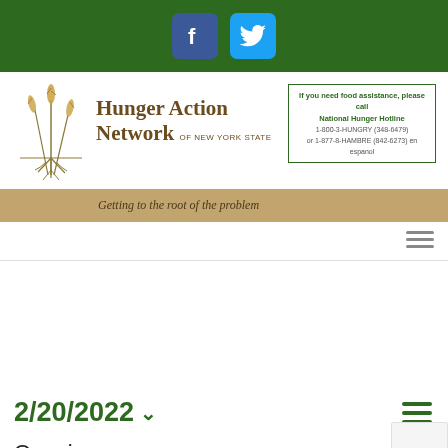[Figure (infographic): Dark green top banner with Facebook and Twitter social media icons]
[Figure (logo): Hunger Action Network of New York State logo with wheat plant illustration and roots]
If you need food assistance, please call National Hunger Hotline 1-800-3-HUNGRY (348-6479) or 1-877-8-HAMBRE (842-6273) en espanol
Getting to the root of the problem
2/20/2022
Ongoing